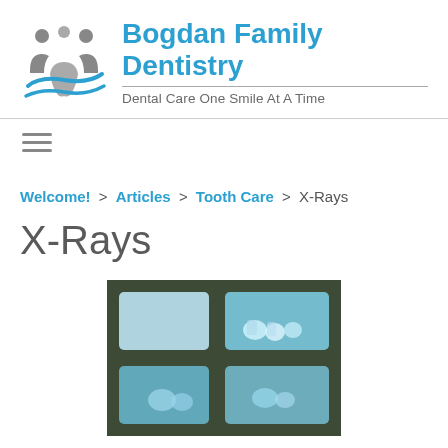[Figure (logo): Bogdan Family Dentistry logo with stylized dental/people SVG icon, brand name in blue, and tagline 'Dental Care One Smile At A Time']
Welcome! > Articles > Tooth Care > X-Rays
X-Rays
[Figure (photo): Close-up photo of dental X-ray films on a light box, showing tooth X-ray images in blue-green tones arranged in a grid pattern]